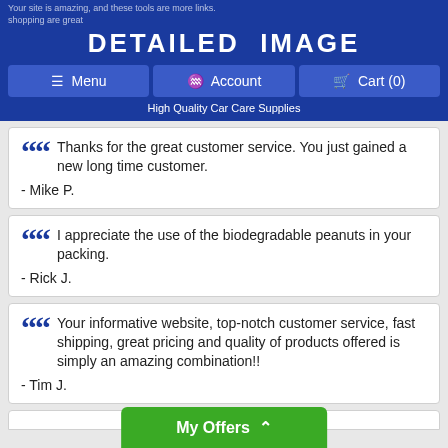DETAILED IMAGE - High Quality Car Care Supplies
Thanks for the great customer service. You just gained a new long time customer.
- Mike P.
I appreciate the use of the biodegradable peanuts in your packing.
- Rick J.
Your informative website, top-notch customer service, fast shipping, great pricing and quality of products offered is simply an amazing combination!!
- Tim J.